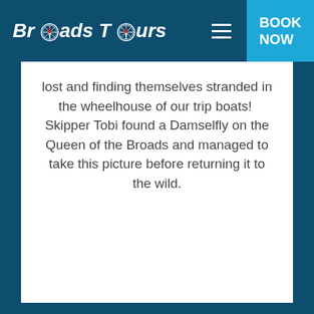Broads Tours | BOOK NOW
lost and finding themselves stranded in the wheelhouse of our trip boats!  Skipper Tobi found a Damselfly on the Queen of the Broads and managed to take this picture before returning it to the wild.